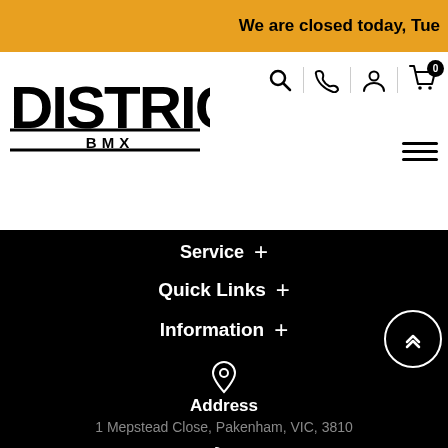We are closed today, Tue
[Figure (logo): District BMX logo with bold text and underline]
Service +
Quick Links +
Information +
Address
1 Mepstead Close, Pakenham, VIC, 3810
Phone
03 5918 0976
[Figure (illustration): Facebook and Instagram social media icons in circles]